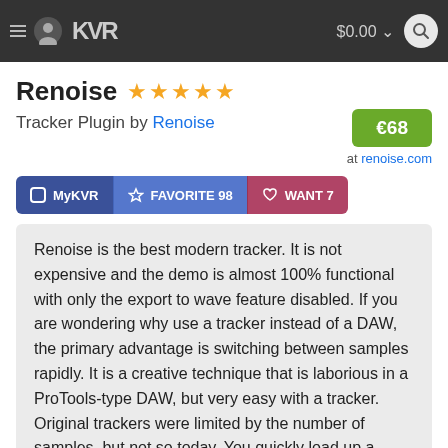KVR  $0.00
Renoise ★★★★★
Tracker Plugin by Renoise
€68 at renoise.com
MyKVR  FAVORITE 98  WANT 7
Renoise is the best modern tracker. It is not expensive and the demo is almost 100% functional with only the export to wave feature disabled. If you are wondering why use a tracker instead of a DAW, the primary advantage is switching between samples rapidly. It is a creative technique that is laborious in a ProTools-type DAW, but very easy with a tracker. Original trackers were limited by the number of samples, but not so today. You quickly load up a folder of samples, as many as you like, and create catchy bass lines or melody lines that use multiple samples